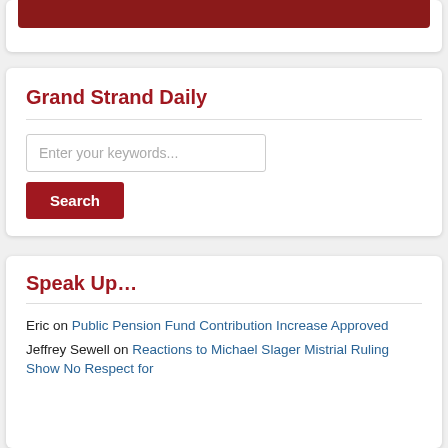[Figure (photo): Partial image strip at top of page with red/dark background and logo]
Grand Strand Daily
Enter your keywords...
Search
Speak Up…
Eric on Public Pension Fund Contribution Increase Approved
Jeffrey Sewell on Reactions to Michael Slager Mistrial Ruling Show No Respect for